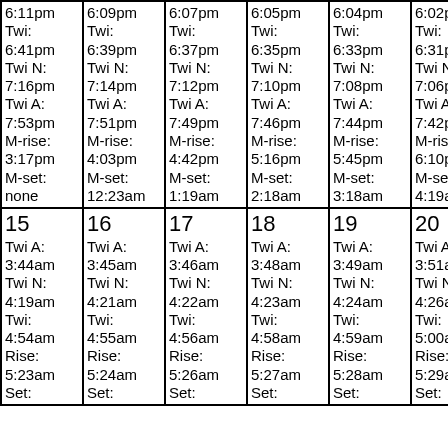| 6:11pm
Twi:
6:41pm
Twi N:
7:16pm
Twi A:
7:53pm
M-rise:
3:17pm
M-set:
none | 6:09pm
Twi:
6:39pm
Twi N:
7:14pm
Twi A:
7:51pm
M-rise:
4:03pm
M-set:
12:23am | 6:07pm
Twi:
6:37pm
Twi N:
7:12pm
Twi A:
7:49pm
M-rise:
4:42pm
M-set:
1:19am | 6:05pm
Twi:
6:35pm
Twi N:
7:10pm
Twi A:
7:46pm
M-rise:
5:16pm
M-set:
2:18am | 6:04pm
Twi:
6:33pm
Twi N:
7:08pm
Twi A:
7:44pm
M-rise:
5:45pm
M-set:
3:18am | 6:02pm
Twi:
6:31pm
Twi N:
7:06pm
Twi A:
7:42pm
M-rise:
6:10pm
M-set:
4:19am |
| 15
Twi A:
3:44am
Twi N:
4:19am
Twi:
4:54am
Rise:
5:23am
Set: | 16
Twi A:
3:45am
Twi N:
4:21am
Twi:
4:55am
Rise:
5:24am
Set: | 17
Twi A:
3:46am
Twi N:
4:22am
Twi:
4:56am
Rise:
5:26am
Set: | 18
Twi A:
3:48am
Twi N:
4:23am
Twi:
4:58am
Rise:
5:27am
Set: | 19
Twi A:
3:49am
Twi N:
4:24am
Twi:
4:59am
Rise:
5:28am
Set: | 20
Twi A:
3:51am
Twi N:
4:26am
Twi:
5:00am
Rise:
5:29am
Set: |